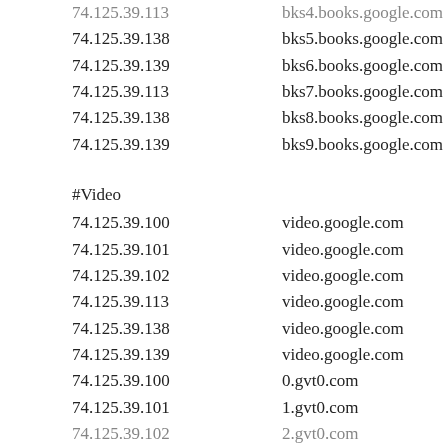74.125.39.138    bks5.books.google.com
74.125.39.139    bks6.books.google.com
74.125.39.113    bks7.books.google.com
74.125.39.138    bks8.books.google.com
74.125.39.139    bks9.books.google.com
#Video
74.125.39.100    video.google.com
74.125.39.101    video.google.com
74.125.39.102    video.google.com
74.125.39.113    video.google.com
74.125.39.138    video.google.com
74.125.39.139    video.google.com
74.125.39.100    0.gvt0.com
74.125.39.101    1.gvt0.com
74.125.39.102    2.gvt0.com